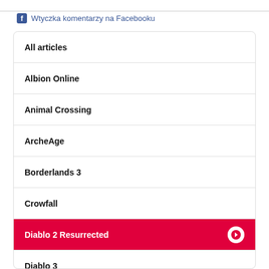Wtyczka komentarzy na Facebooku
All articles
Albion Online
Animal Crossing
ArcheAge
Borderlands 3
Crowfall
Diablo 2 Resurrected
Diablo 3
Dual Universe